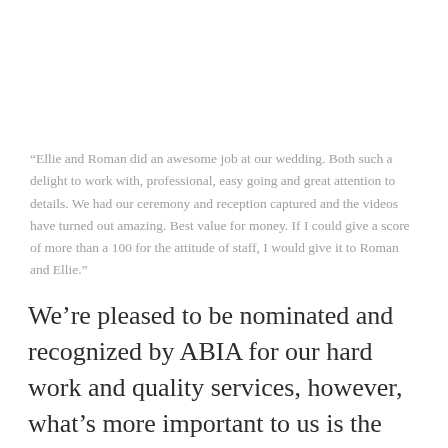“Ellie and Roman did an awesome job at our wedding. Both such a delight to work with, professional, easy going and great attention to details. We had our ceremony and reception captured and the videos have turned out amazing. Best value for money. If I could give a score of more than a 100 for the attitude of staff, I would give it to Roman and Ellie.”
We’re pleased to be nominated and recognized by ABIA for our hard work and quality services, however, what’s more important to us is the couples we work with every day. We know your wedding should be the most amazing day of your life and that is why we strive to deliver